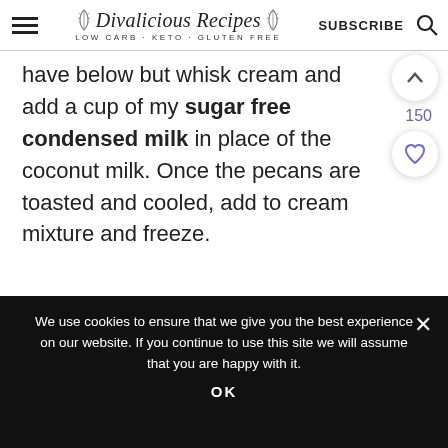Divalicious Recipes LOW CARB - KETO - GLUTEN FREE | SUBSCRIBE
have below but whisk cream and add a cup of my sugar free condensed milk in place of the coconut milk. Once the pecans are toasted and cooled, add to cream mixture and freeze.
We use cookies to ensure that we give you the best experience on our website. If you continue to use this site we will assume that you are happy with it.
OK